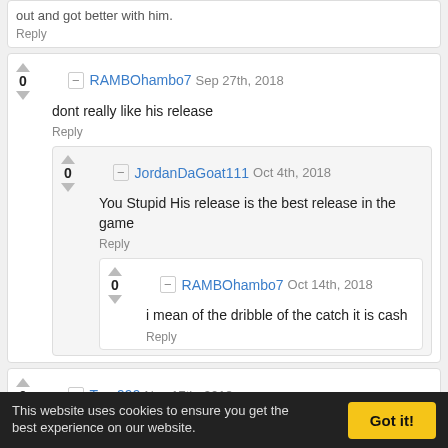out and got better with him.
Reply
RAMBOhambo7  Sep 27th, 2018
0
dont really like his release
Reply
JordanDaGoat111  Oct 4th, 2018
0
You Stupid His release is the best release in the game
Reply
RAMBOhambo7  Oct 14th, 2018
0
i mean of the dribble of the catch it is cash
Reply
Trey999  Nov 17th, 2018
0
the nickname is inappropriate
Reply
Onitniuq  Dec 13th, 2018
0
I kill wit this card. Can't wait to try Greg Oden tbh lol
Reply
RonnieReagan40  Mar 6th, 2019
This website uses cookies to ensure you get the best experience on our website.
Got it!